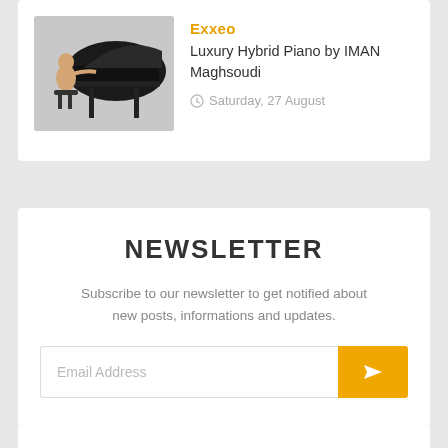[Figure (photo): Photo of a person sitting at a futuristic black grand piano design]
Exxeo
Luxury Hybrid Piano by IMAN Maghsoudi
Saturday, 27 August
NEWSLETTER
Subscribe to our newsletter to get notified about new posts, informations and updates.
Email Address